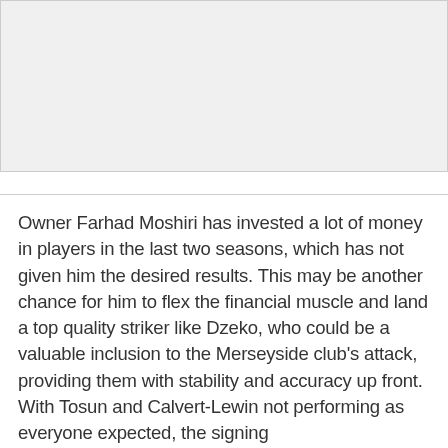[Figure (photo): Image placeholder area at top of page]
Owner Farhad Moshiri has invested a lot of money in players in the last two seasons, which has not given him the desired results. This may be another chance for him to flex the financial muscle and land a top quality striker like Dzeko, who could be a valuable inclusion to the Merseyside club's attack, providing them with stability and accuracy up front. With Tosun and Calvert-Lewin not performing as everyone expected, the signing